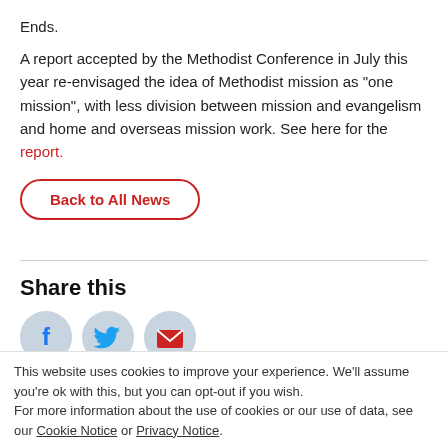Ends.
A report accepted by the Methodist Conference in July this year re-envisaged the idea of Methodist mission as "one mission", with less division between mission and evangelism and home and overseas mission work. See here for the report.
Back to All News
Share this
[Figure (illustration): Three social sharing icons partially visible: Facebook (blue f), Twitter (blue bird), Email (red envelope), each on a grey circular background.]
This website uses cookies to improve your experience. We'll assume you're ok with this, but you can opt-out if you wish.
For more information about the use of cookies or our use of data, see our Cookie Notice or Privacy Notice.